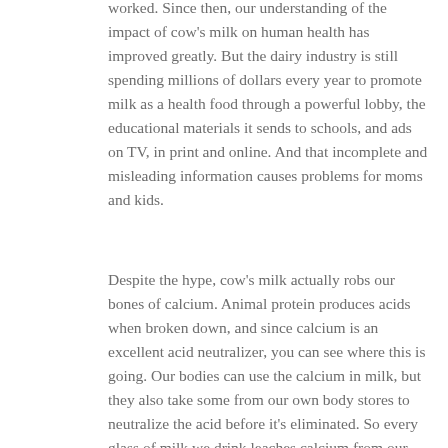worked. Since then, our understanding of the impact of cow's milk on human health has improved greatly. But the dairy industry is still spending millions of dollars every year to promote milk as a health food through a powerful lobby, the educational materials it sends to schools, and ads on TV, in print and online. And that incomplete and misleading information causes problems for moms and kids.
Despite the hype, cow's milk actually robs our bones of calcium. Animal protein produces acids when broken down, and since calcium is an excellent acid neutralizer, you can see where this is going. Our bodies can use the calcium in milk, but they also take some from our own body stores to neutralize the acid before it's eliminated. So every glass of milk we drink leaches calcium from our bones.
The dairy industry also promotes milk as a source of vitamin D, but this nutrient doesn't occur in milk naturally